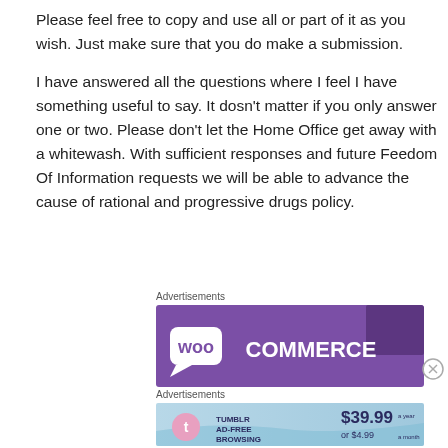Please feel free to copy and use all or part of it as you wish.  Just make sure that you do make a submission.
I have answered all the questions where I feel I have something useful to say.  It dosn't matter if you only answer one or two.  Please don't let the Home Office get away with a whitewash.  With sufficient responses and future Feedom Of Information requests we will be able to advance the cause of rational and progressive drugs policy.
Advertisements
[Figure (screenshot): WooCommerce advertisement banner with purple background]
Advertisements
[Figure (screenshot): Tumblr Ad-Free Browsing advertisement banner - $39.99 a year or $4.99 a month]